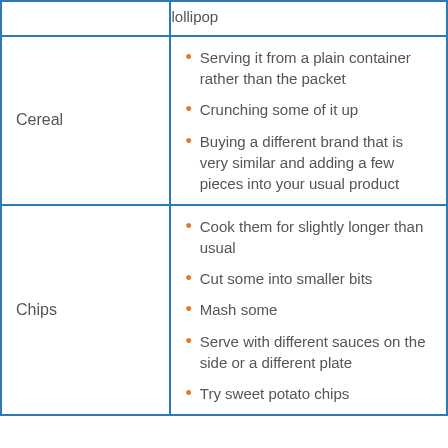|  | lollipop |
| Cereal | Serving it from a plain container rather than the packet | Crunching some of it up | Buying a different brand that is very similar and adding a few pieces into your usual product |
| Chips | Cook them for slightly longer than usual | Cut some into smaller bits | Mash some | Serve with different sauces on the side or a different plate | Try sweet potato chips |